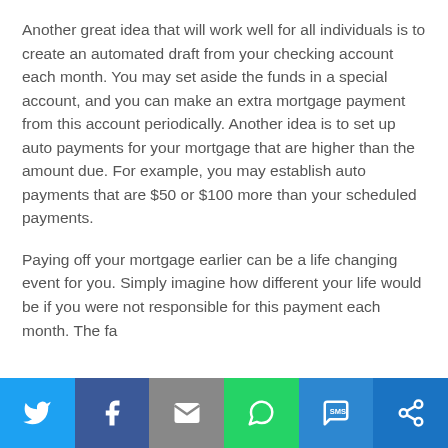Another great idea that will work well for all individuals is to create an automated draft from your checking account each month. You may set aside the funds in a special account, and you can make an extra mortgage payment from this account periodically. Another idea is to set up auto payments for your mortgage that are higher than the amount due. For example, you may establish auto payments that are $50 or $100 more than your scheduled payments.
Paying off your mortgage earlier can be a life changing event for you. Simply imagine how different your life would be if you were not responsible for this payment each month. The fa...